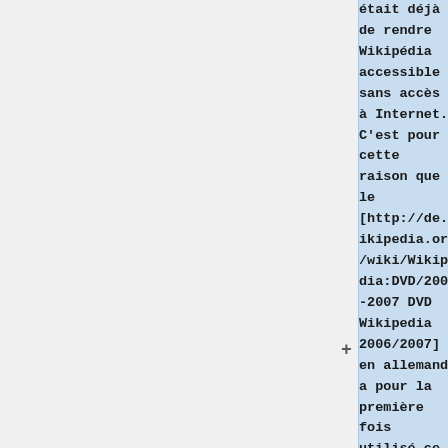était déjà de rendre Wikipédia accessible sans accès à Internet. C'est pour cette raison que le [http://de.wikipedia.org/wiki/Wikipedia:DVD/2006-2007 DVD Wikipedia 2006/2007] en allemand a pour la première fois utilisé ce